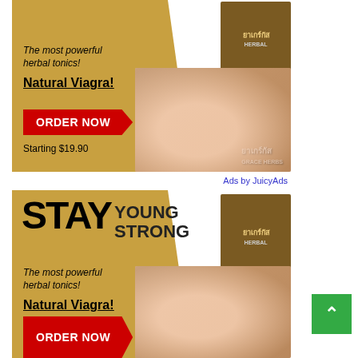[Figure (infographic): Advertisement banner 1: gold background shape on left with italic text 'The most powerful herbal tonics!', bold underlined 'Natural Viagra!', red ORDER NOW button, 'Starting $19.90' text. Right side shows product box (brown Thai herbal medicine box) and elderly couple photo. Text overlay in Thai script.]
Ads by JuicyAds
[Figure (infographic): Advertisement banner 2: same gold background shape. Large bold 'STAY YOUNG STRONG' headline. italic text 'The most powerful herbal tonics!', bold underlined 'Natural Viagra!', red ORDER NOW button partially visible. Right side shows same product box and elderly couple photo. Green scroll-to-top button on far right.]